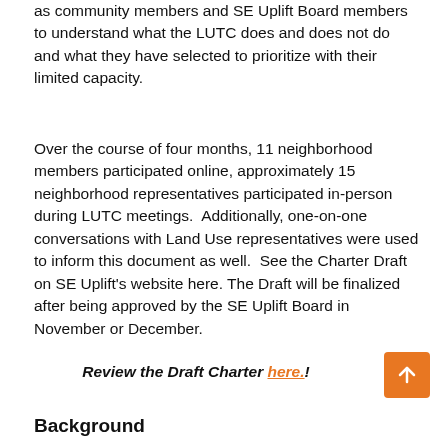as community members and SE Uplift Board members to understand what the LUTC does and does not do and what they have selected to prioritize with their limited capacity.
Over the course of four months, 11 neighborhood members participated online, approximately 15 neighborhood representatives participated in-person during LUTC meetings.  Additionally, one-on-one conversations with Land Use representatives were used to inform this document as well.  See the Charter Draft on SE Uplift's website here. The Draft will be finalized after being approved by the SE Uplift Board in November or December.
Review the Draft Charter here.!
Background